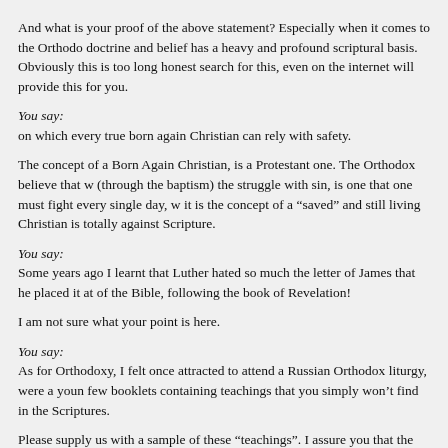And what is your proof of the above statement? Especially when it comes to the Orthodox doctrine and belief has a heavy and profound scriptural basis. Obviously this is too long honest search for this, even on the internet will provide this for you.
You say:
on which every true born again Christian can rely with safety.
The concept of a Born Again Christian, is a Protestant one. The Orthodox believe that while (through the baptism) the struggle with sin, is one that one must fight every single day, it is the concept of a “saved” and still living Christian is totally against Scripture.
You say:
Some years ago I learnt that Luther hated so much the letter of James that he placed it at of the Bible, following the book of Revelation!
I am not sure what your point is here.
You say:
As for Orthodoxy, I felt once attracted to attend a Russian Orthodox liturgy, were a young few booklets containing teachings that you simply won’t find in the Scriptures.
Please supply us with a sample of these “teachings”. I assure you that the vast majority of Orthodox Church is totally supported by Scripture. The rest is implied and derived from not contrary to the Scriptures.
You say:
He never asked me regarding my faith in Jesus Christ or whether I had repented of my si